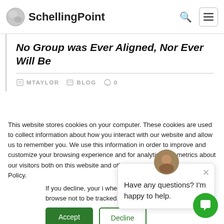SchellingPoint
No Group was Ever Aligned, Nor Ever Will Be
MTAYLOR   BLOG   0
This website stores cookies on your computer. These cookies are used to collect information about how you interact with our website and allow us to remember you. We use this information in order to improve and customize your browsing experience and for analytics and metrics about our visitors both on this website and other media. To find out more about the cookies we use, see our Privacy Policy.
If you decline, your information won't be tracked when you visit this website. A single cookie will be used in your browser to remember your preference not to be tracked.
[Figure (screenshot): Chat popup with avatar saying 'Have any questions? I'm happy to help.']
Accept
Decline